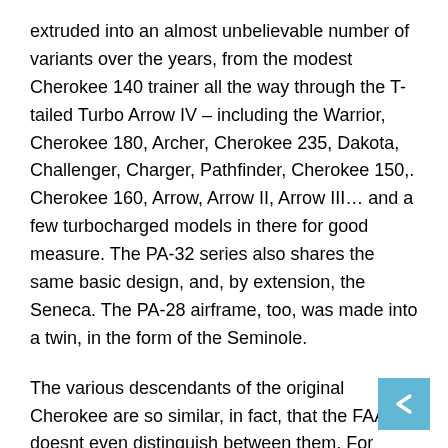extruded into an almost unbelievable number of variants over the years, from the modest Cherokee 140 trainer all the way through the T-tailed Turbo Arrow IV – including the Warrior, Cherokee 180, Archer, Cherokee 235, Dakota, Challenger, Charger, Pathfinder, Cherokee 150,. Cherokee 160, Arrow, Arrow II, Arrow III… and a few turbocharged models in there for good measure. The PA-32 series also shares the same basic design, and, by extension, the Seneca. The PA-28 airframe, too, was made into a twin, in the form of the Seminole.
The various descendants of the original Cherokee are so similar, in fact, that the FAA doesnt even distinguish between them. For purposes of the census and activity surveys, all PA-28s are the same.
The original PA-28 owes its existence to John Thorpe, who